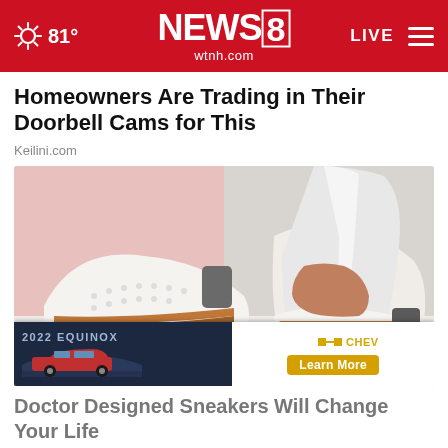81° NEWS8 wtnh.com LIVE
Homeowners Are Trading in Their Doorbell Cams for This
Keilini.com
[Figure (photo): Close-up photo of a person wearing white slip-on sneakers with brown/caramel stripe details and perforated pattern, wearing white jeans, on a light pink and white background]
[Figure (screenshot): Advertisement banner for 2022 Chevrolet Equinox with dark background on left showing red SUV and 'CHEVROLET Learn More' button on right]
Doctor Designed Sneakers Will Change Your Life